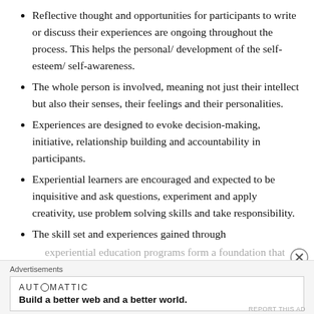Reflective thought and opportunities for participants to write or discuss their experiences are ongoing throughout the process. This helps the personal/ development of the self-esteem/ self-awareness.
The whole person is involved, meaning not just their intellect but also their senses, their feelings and their personalities.
Experiences are designed to evoke decision-making, initiative, relationship building and accountability in participants.
Experiential learners are encouraged and expected to be inquisitive and ask questions, experiment and apply creativity, use problem solving skills and take responsibility.
The skill set and experiences gained through experiential education programs form a foundation that…
Advertisements
[Figure (other): Automattic advertisement banner: 'Build a better web and a better world.']